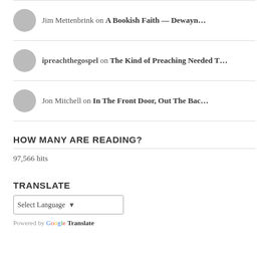Jim Mettenbrink on A Bookish Faith — Dewayn…
ipreachthegospel on The Kind of Preaching Needed T…
Jon Mitchell on In The Front Door, Out The Bac…
HOW MANY ARE READING?
97,566 hits
TRANSLATE
Select Language
Powered by Google Translate